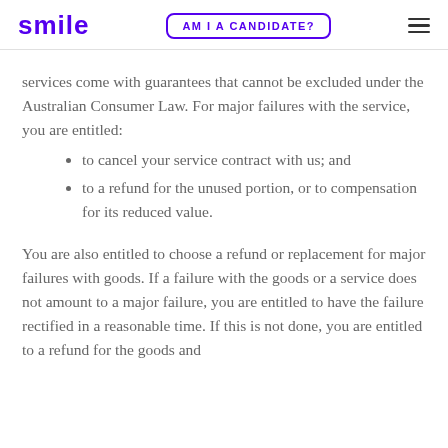smile | AM I A CANDIDATE?
services come with guarantees that cannot be excluded under the Australian Consumer Law. For major failures with the service, you are entitled:
to cancel your service contract with us; and
to a refund for the unused portion, or to compensation for its reduced value.
You are also entitled to choose a refund or replacement for major failures with goods. If a failure with the goods or a service does not amount to a major failure, you are entitled to have the failure rectified in a reasonable time. If this is not done, you are entitled to a refund for the goods and